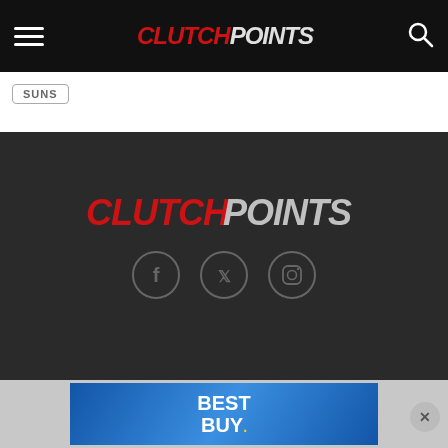CLUTCHPOINTS navigation bar with hamburger menu and search icon
SUNS
[Figure (logo): ClutchPoints logo in footer - CLUTCH in red italic bold, POINTS in light gray italic bold]
[Figure (infographic): Social media icons: Facebook, Twitter, Instagram in circular outlines]
Contact Us   Jobs   Team   DMCA   Terms of Service   Privacy Policy   Company Updates   Press
Copyright © ClutchPoints
[Figure (photo): Best Buy advertisement banner with blue gradient background and white BEST BUY text with yellow dot]